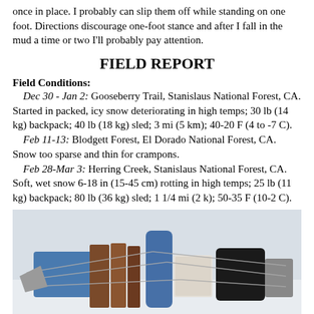once in place. I probably can slip them off while standing on one foot. Directions discourage one-foot stance and after I fall in the mud a time or two I'll probably pay attention.
FIELD REPORT
Field Conditions:
Dec 30 - Jan 2: Gooseberry Trail, Stanislaus National Forest, CA. Started in packed, icy snow deteriorating in high temps; 30 lb (14 kg) backpack; 40 lb (18 kg) sled; 3 mi (5 km); 40-20 F (4 to -7 C).
Feb 11-13: Blodgett Forest, El Dorado National Forest, CA. Snow too sparse and thin for crampons.
Feb 28-Mar 3: Herring Creek, Stanislaus National Forest, CA. Soft, wet snow 6-18 in (15-45 cm) rotting in high temps; 25 lb (11 kg) backpack; 80 lb (36 kg) sled; 1 1/4 mi (2 k); 50-35 F (10-2 C).
[Figure (photo): Photograph of a loaded sled with supplies including a blue container, wood planks, a blue foam pad, straps/cords, and other gear on a snowy surface.]